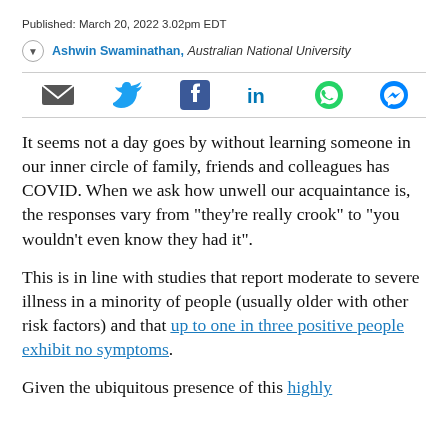Published: March 20, 2022 3.02pm EDT
Ashwin Swaminathan, Australian National University
[Figure (infographic): Social sharing icons bar: email, Twitter, Facebook, LinkedIn, WhatsApp, Messenger]
It seems not a day goes by without learning someone in our inner circle of family, friends and colleagues has COVID. When we ask how unwell our acquaintance is, the responses vary from “they’re really crook” to “you wouldn’t even know they had it”.
This is in line with studies that report moderate to severe illness in a minority of people (usually older with other risk factors) and that up to one in three positive people exhibit no symptoms.
Given the ubiquitous presence of this highly infectious coronavirus in our community and the